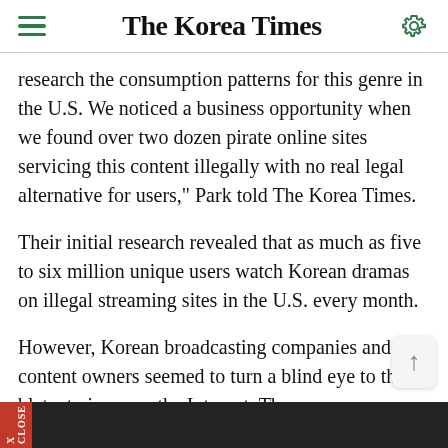The Korea Times
research the consumption patterns for this genre in the U.S. We noticed a business opportunity when we found over two dozen pirate online sites servicing this content illegally with no real legal alternative for users," Park told The Korea Times.
Their initial research revealed that as much as five to six million unique users watch Korean dramas on illegal streaming sites in the U.S. every month.
However, Korean broadcasting companies and content owners seemed to turn a blind eye to the blatant piracy on the Internet. They were even reluctant to allow DramaFever to buy the licenses for the dramas.